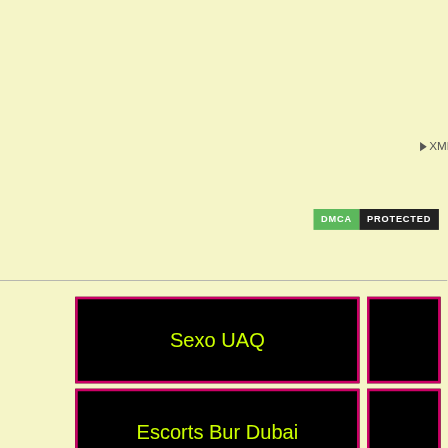|  |  |
| --- | --- |
| Today | 16 |
| Yesterday | 24 |
| All | 6800 |
| Online | 2 |
➡ XML
[Figure (other): DMCA Protected badge with green DMCA label and dark PROTECTED label]
Sexo UAQ
Escorts Bur Dubai
Sexo Bur Dubai
[Figure (infographic): Call Now! +971557869622 banner with red background and phone icon]
[Figure (infographic): Whatsapp us +971557869622 banner with blue background and WhatsApp icon]